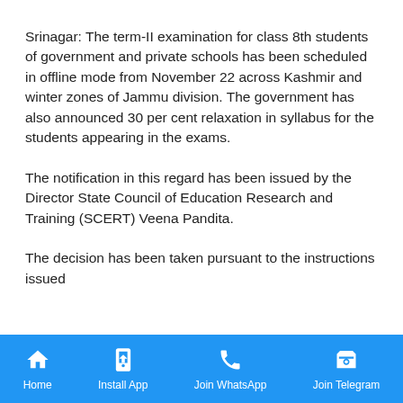Srinagar: The term-II examination for class 8th students of government and private schools has been scheduled in offline mode from November 22 across Kashmir and winter zones of Jammu division. The government has also announced 30 per cent relaxation in syllabus for the students appearing in the exams.
The notification in this regard has been issued by the Director State Council of Education Research and Training (SCERT) Veena Pandita.
The decision has been taken pursuant to the instructions issued
Home | Install App | Join WhatsApp | Join Telegram